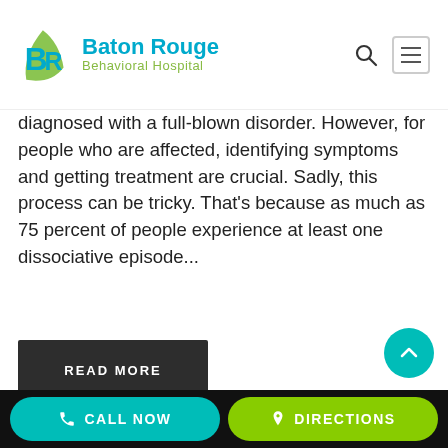Baton Rouge Behavioral Hospital
diagnosed with a full-blown disorder. However, for people who are affected, identifying symptoms and getting treatment are crucial. Sadly, this process can be tricky. That's because as much as 75 percent of people experience at least one dissociative episode...
READ MORE
[Figure (photo): Partial view of a person with hands near head, warm indoor background]
CALL NOW   DIRECTIONS